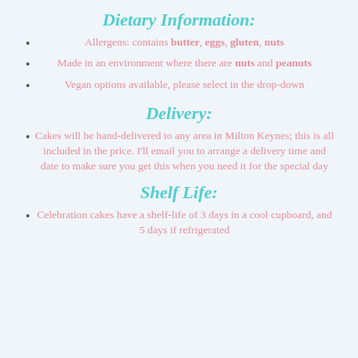Dietary Information:
Allergens: contains butter, eggs, gluten, nuts
Made in an environment where there are nuts and peanuts
Vegan options available, please select in the drop-down
Delivery:
Cakes will be hand-delivered to any area in Milton Keynes; this is all included in the price. I'll email you to arrange a delivery time and date to make sure you get this when you need it for the special day
Shelf Life:
Celebration cakes have a shelf-life of 3 days in a cool cupboard, and 5 days if refrigerated